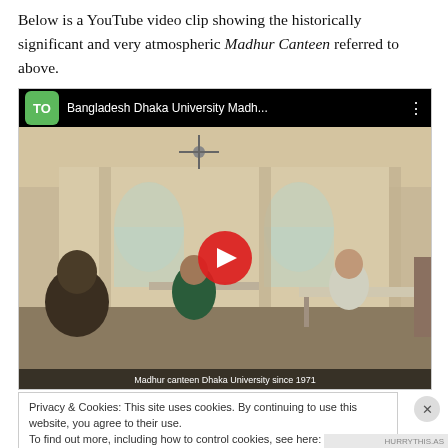Below is a YouTube video clip showing the historically significant and very atmospheric Madhur Canteen referred to above.
[Figure (screenshot): Embedded YouTube video thumbnail showing the interior of a canteen (Madhur Canteen at Dhaka University, Bangladesh). The video title bar reads 'TO | Bangladesh Dhaka University Madh...' with a green TO logo. A red YouTube play button is centered over the scene. The canteen interior shows students sitting at tables in a large hall with arched windows. A subtitle bar is visible at the bottom.]
Privacy & Cookies: This site uses cookies. By continuing to use this website, you agree to their use.
To find out more, including how to control cookies, see here: Cookie Policy